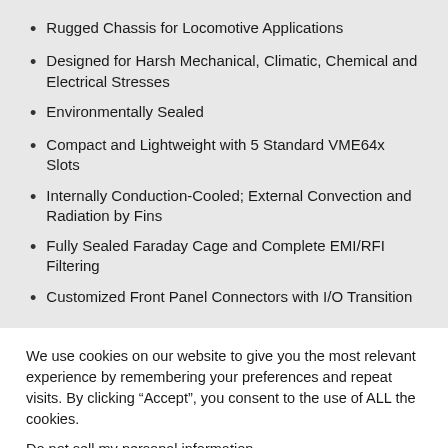Rugged Chassis for Locomotive Applications
Designed for Harsh Mechanical, Climatic, Chemical and Electrical Stresses
Environmentally Sealed
Compact and Lightweight with 5 Standard VME64x Slots
Internally Conduction-Cooled; External Convection and Radiation by Fins
Fully Sealed Faraday Cage and Complete EMI/RFI Filtering
Customized Front Panel Connectors with I/O Transition
We use cookies on our website to give you the most relevant experience by remembering your preferences and repeat visits. By clicking “Accept”, you consent to the use of ALL the cookies.
Do not sell my personal information.